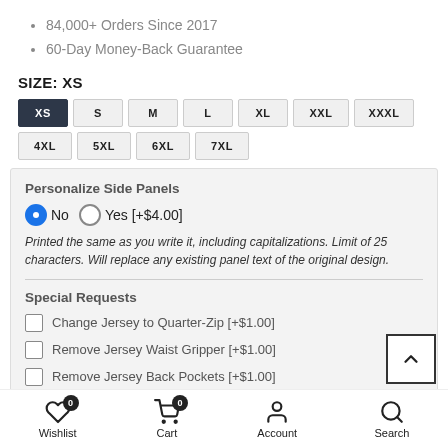84,000+ Orders Since 2017
60-Day Money-Back Guarantee
SIZE: XS
XS S M L XL XXL XXXL 4XL 5XL 6XL 7XL
Personalize Side Panels
No  Yes [+$4.00]
Printed the same as you write it, including capitalizations. Limit of 25 characters. Will replace any existing panel text of the original design.
Special Requests
Change Jersey to Quarter-Zip [+$1.00]
Remove Jersey Waist Gripper [+$1.00]
Remove Jersey Back Pockets [+$1.00]
Wishlist  Cart  Account  Search